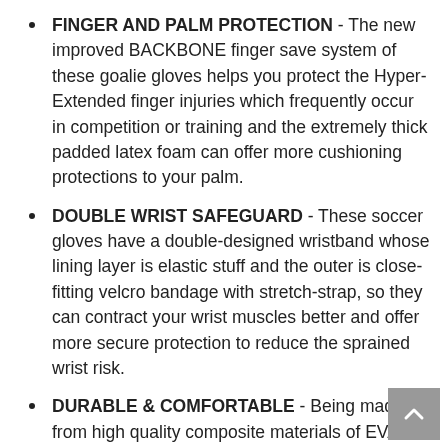FINGER AND PALM PROTECTION  - The new improved BACKBONE finger save system of these goalie gloves helps you protect the Hyper-Extended finger injuries which frequently occur in competition or training and the extremely thick padded latex foam can offer more cushioning protections to your palm.
DOUBLE WRIST SAFEGUARD  - These soccer gloves have a double-designed wristband whose lining layer is elastic stuff and the outer is close-fitting velcro bandage with stretch-strap, so they can contract your wrist muscles better and offer more secure protection to reduce the sprained wrist risk.
DURABLE & COMFORTABLE  - Being made from high quality composite materials of EVA and latex, these gloves are so strong that they are hard to splitted whether in fierce...